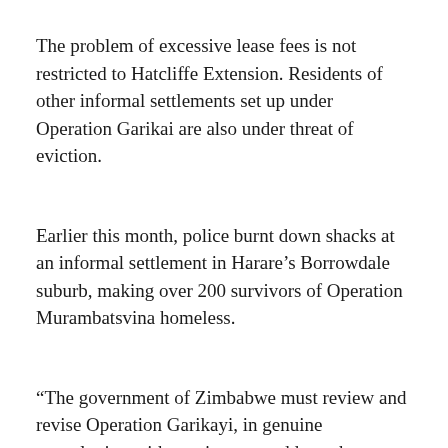The problem of excessive lease fees is not restricted to Hatcliffe Extension. Residents of other informal settlements set up under Operation Garikai are also under threat of eviction.
Earlier this month, police burnt down shacks at an informal settlement in Harare's Borrowdale suburb, making over 200 survivors of Operation Murambatsvina homeless.
“The government of Zimbabwe must review and revise Operation Garikayi, in genuine consultation with survivors, to address the housing needs of all survivors of Operation